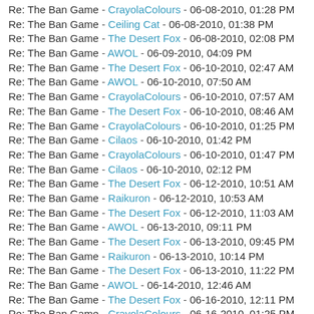Re: The Ban Game - CrayolaColours - 06-08-2010, 01:28 PM
Re: The Ban Game - Ceiling Cat - 06-08-2010, 01:38 PM
Re: The Ban Game - The Desert Fox - 06-08-2010, 02:08 PM
Re: The Ban Game - AWOL - 06-09-2010, 04:09 PM
Re: The Ban Game - The Desert Fox - 06-10-2010, 02:47 AM
Re: The Ban Game - AWOL - 06-10-2010, 07:50 AM
Re: The Ban Game - CrayolaColours - 06-10-2010, 07:57 AM
Re: The Ban Game - The Desert Fox - 06-10-2010, 08:46 AM
Re: The Ban Game - CrayolaColours - 06-10-2010, 01:25 PM
Re: The Ban Game - Cilaos - 06-10-2010, 01:42 PM
Re: The Ban Game - CrayolaColours - 06-10-2010, 01:47 PM
Re: The Ban Game - Cilaos - 06-10-2010, 02:12 PM
Re: The Ban Game - The Desert Fox - 06-12-2010, 10:51 AM
Re: The Ban Game - Raikuron - 06-12-2010, 10:53 AM
Re: The Ban Game - The Desert Fox - 06-12-2010, 11:03 AM
Re: The Ban Game - AWOL - 06-13-2010, 09:11 PM
Re: The Ban Game - The Desert Fox - 06-13-2010, 09:45 PM
Re: The Ban Game - Raikuron - 06-13-2010, 10:14 PM
Re: The Ban Game - The Desert Fox - 06-13-2010, 11:22 PM
Re: The Ban Game - AWOL - 06-14-2010, 12:46 AM
Re: The Ban Game - The Desert Fox - 06-16-2010, 12:11 PM
Re: The Ban Game - CrayolaColours - 06-16-2010, 01:25 PM
Re: The Ban Game - LOON_ATTIC - 06-16-2010, 04:11 PM